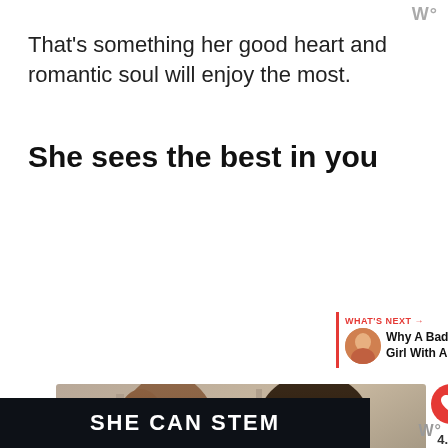W°
That's something her good heart and romantic soul will enjoy the most.
She sees the best in you
[Figure (photo): A smiling couple facing each other — a woman with long brown hair on the left and a man wearing glasses and a striped scarf on the right, with a heart/like button showing 4.4K and a share button, plus a 'What's Next' panel showing 'Why A Badass Girl With A B...']
SHE CAN STEM
W°